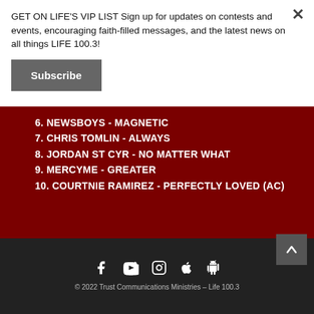GET ON LIFE'S VIP LIST Sign up for updates on contests and events, encouraging faith-filled messages, and the latest news on all things LIFE 100.3!
Subscribe
6. NEWSBOYS - MAGNETIC
7. CHRIS TOMLIN - ALWAYS
8. JORDAN ST CYR - NO MATTER WHAT
9. MERCYME - GREATER
10. COURTNIE RAMIREZ - PERFECTLY LOVED (AC)
[Figure (other): Social media icons: Facebook, YouTube, Instagram, Apple, Android]
© 2022 Trust Communications Ministries – Life 100.3